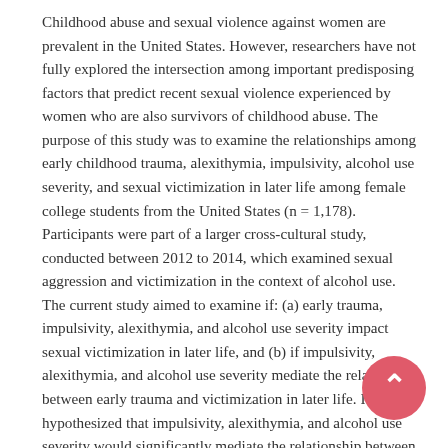Childhood abuse and sexual violence against women are prevalent in the United States. However, researchers have not fully explored the intersection among important predisposing factors that predict recent sexual violence experienced by women who are also survivors of childhood abuse. The purpose of this study was to examine the relationships among early childhood trauma, alexithymia, impulsivity, alcohol use severity, and sexual victimization in later life among female college students from the United States (n = 1,178). Participants were part of a larger cross-cultural study, conducted between 2012 to 2014, which examined sexual aggression and victimization in the context of alcohol use. The current study aimed to examine if: (a) early trauma, impulsivity, alexithymia, and alcohol use severity impact sexual victimization in later life, and (b) if impulsivity, alexithymia, and alcohol use severity mediate the relationship between early trauma and victimization in later life. It was hypothesized that impulsivity, alexithymia, and alcohol use severity would significantly mediate the relationship between early trauma and sexual victimization in later life. Using a multiple mediation path analysis, results indicated that early childhood trauma was significantly linked with impulsivity, alcohol use severity, and sexual victimization in later life. A partial mediation through